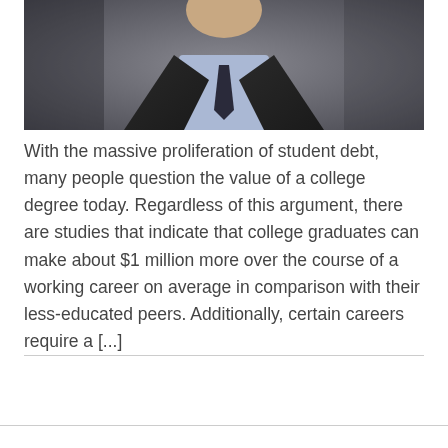[Figure (photo): Partial photo of a person in a dark suit with light blue shirt, photographed against a grey background, showing the lower chin/neck and upper torso only]
With the massive proliferation of student debt, many people question the value of a college degree today. Regardless of this argument, there are studies that indicate that college graduates can make about $1 million more over the course of a working career on average in comparison with their less-educated peers. Additionally, certain careers require a [...]